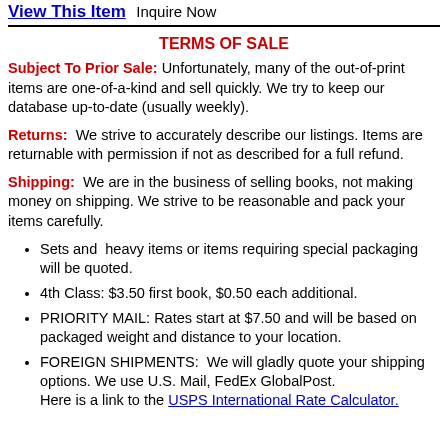View This Item  Inquire Now
TERMS OF SALE
Subject To Prior Sale: Unfortunately, many of the out-of-print items are one-of-a-kind and sell quickly. We try to keep our database up-to-date (usually weekly).
Returns: We strive to accurately describe our listings. Items are returnable with permission if not as described for a full refund.
Shipping: We are in the business of selling books, not making money on shipping. We strive to be reasonable and pack your items carefully.
Sets and heavy items or items requiring special packaging will be quoted.
4th Class: $3.50 first book, $0.50 each additional.
PRIORITY MAIL: Rates start at $7.50 and will be based on packaged weight and distance to your location.
FOREIGN SHIPMENTS: We will gladly quote your shipping options. We use U.S. Mail, FedEx GlobalPost. Here is a link to the USPS International Rate Calculator.